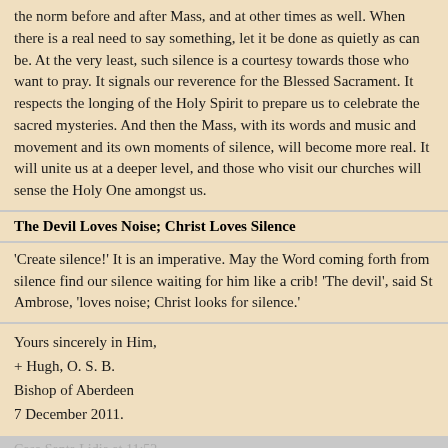the norm before and after Mass, and at other times as well. When there is a real need to say something, let it be done as quietly as can be. At the very least, such silence is a courtesy towards those who want to pray. It signals our reverence for the Blessed Sacrament. It respects the longing of the Holy Spirit to prepare us to celebrate the sacred mysteries. And then the Mass, with its words and music and movement and its own moments of silence, will become more real. It will unite us at a deeper level, and those who visit our churches will sense the Holy One amongst us.
The Devil Loves Noise; Christ Loves Silence
'Create silence!' It is an imperative. May the Word coming forth from silence find our silence waiting for him like a crib! 'The devil', said St Ambrose, 'loves noise; Christ looks for silence.'
Yours sincerely in Him,
+ Hugh, O. S. B.
Bishop of Aberdeen
7 December 2011.
Casa Santa Lidia at 11:52
No comments:
Post a Comment
Note: only a member of this blog may post a